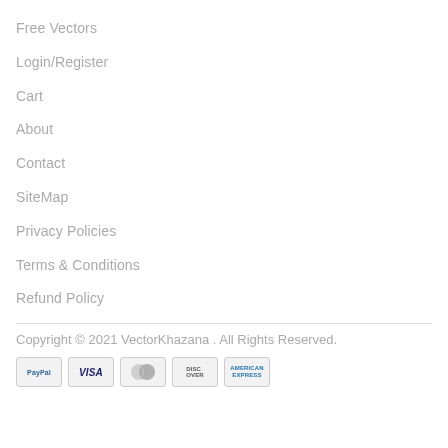Free Vectors
Login/Register
Cart
About
Contact
SiteMap
Privacy Policies
Terms & Conditions
Refund Policy
Copyright © 2021 VectorKhazana . All Rights Reserved.
[Figure (other): Payment method icons: PayPal, VISA, Mastercard, Discover, American Express]